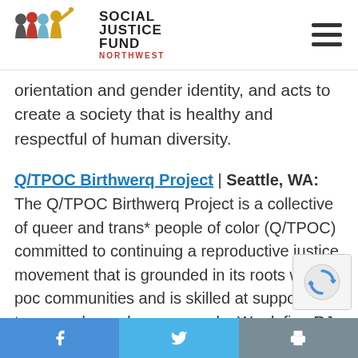Social Justice Fund Northwest — navigation header with logo and hamburger menu
orientation and gender identity, and acts to create a society that is healthy and respectful of human diversity.
Q/TPOC Birthwerq Project | Seattle, WA: The Q/TPOC Birthwerq Project is a collective of queer and trans* people of color (Q/TPOC) committed to continuing a reproductive justice movement that is grounded in its roots within poc communities and is skilled at supporting transgender and queer people. We define RJ as when all people have the social, political, and economic pow
Facebook | Twitter | Print